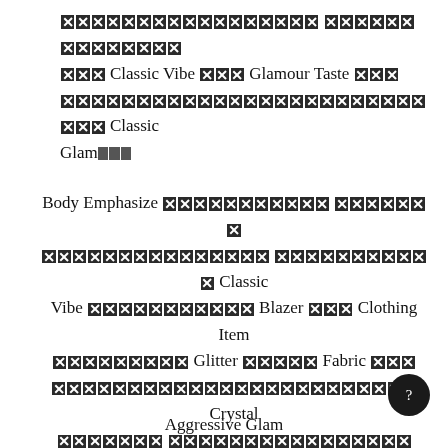[blocked chars] Classic Vibe [blocked chars] Glamour Taste [blocked chars] [blocked chars] Classic Glam[blocked chars]
Body Emphasize [blocked chars] Classic Vibe [blocked chars] Blazer [blocked chars] Clothing Item [blocked chars] Glitter [blocked chars] Fabric [blocked chars] [blocked chars] Crystal [blocked chars] [blocked chars] Glam [blocked chars] [blocked chars] Style Type [blocked chars] Classic Glam [blocked chars]
Aggressive Glam